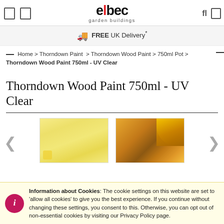elbec garden buildings
FREE UK Delivery*
Home > Thorndown Paint > Thorndown Wood Paint > 750ml Pot > Thorndown Wood Paint 750ml - UV Clear
Thorndown Wood Paint 750ml - UV Clear
[Figure (photo): Product image gallery showing two thumbnail images: one of natural pale wood grain and one of wooden panels with yellow flowers in the background]
Information about Cookies: The cookie settings on this website are set to 'allow all cookies' to give you the best experience. If you continue without changing these settings, you consent to this. Otherwise, you can opt out of non-essential cookies by visiting our Privacy Policy page.